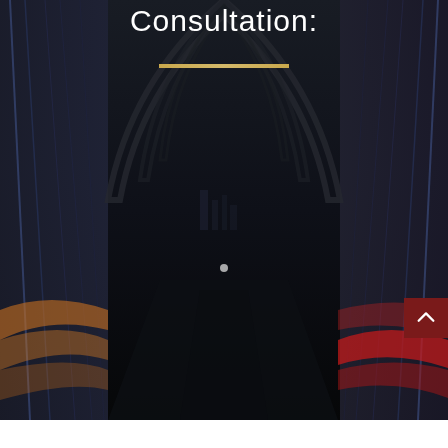Consultation:
[Figure (photo): Night highway bridge photo used as decorative background. A dark atmospheric image showing a road/bridge at night with colored light streaks (orange/yellow on the left, red on the right) and bridge structural elements visible overhead. Center panel shows a darker, more enclosed view possibly inside a tunnel or under bridge arches. A small white dot of light is visible in the center distance. A dark red back-to-top navigation button with an upward chevron arrow is positioned at the right edge. A gold/tan horizontal divider line appears below the title.]